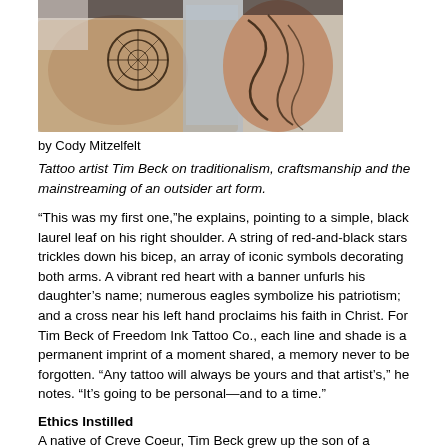[Figure (photo): A tattoo artist's hands working on a tattoo, showing detailed tattoo artwork on the skin. A plastic-wrapped tattoo machine is visible, along with intricate tattoo designs on the artist's arm.]
by Cody Mitzelfelt
Tattoo artist Tim Beck on traditionalism, craftsmanship and the mainstreaming of an outsider art form.
“This was my first one,”he explains, pointing to a simple, black laurel leaf on his right shoulder. A string of red-and-black stars trickles down his bicep, an array of iconic symbols decorating both arms. A vibrant red heart with a banner unfurls his daughter’s name; numerous eagles symbolize his patriotism; and a cross near his left hand proclaims his faith in Christ. For Tim Beck of Freedom Ink Tattoo Co., each line and shade is a permanent imprint of a moment shared, a memory never to be forgotten. “Any tattoo will always be yours and that artist’s,” he notes. “It’s going to be personal—and to a time.”
Ethics Instilled
A native of Creve Coeur, Tim Beck grew up the son of a